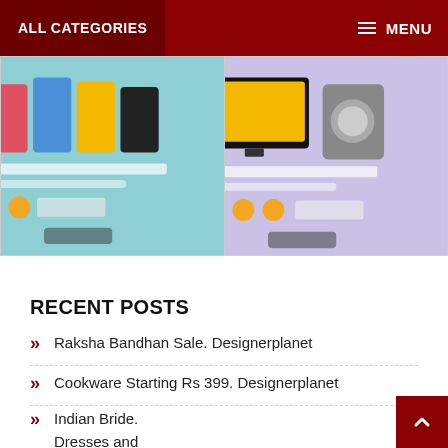ALL CATEGORIES  MENU
[Figure (screenshot): Two promotional banner images side by side — left banner shows smartphones on a teal background, right banner shows electronics (TV, washing machine) on a lavender background]
RECENT POSTS
Raksha Bandhan Sale. Designerplanet
Cookware Starting Rs 399. Designerplanet
Indian Bride. Dresses and Jewelry Traditions Across the Different States of India . Designerplant